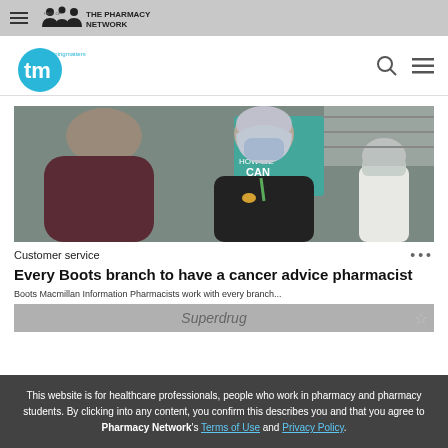[Figure (logo): The Pharmacy Network logo with hamburger menu icon and 'part of' text, gray banner background]
[Figure (logo): Training Matters (tm) logo in blue circle with search and hamburger menu icons on right]
[Figure (photo): Pharmacy scene: masked pharmacist in hijab speaking with a customer in a Boots pharmacy, another masked staff member visible in background]
Customer service
Every Boots branch to have a cancer advice pharmacist
Boots Macmillan Information Pharmacists work with every branch...
This website is for healthcare professionals, people who work in pharmacy and pharmacy students. By clicking into any content, you confirm this describes you and that you agree to Pharmacy Network's Terms of Use and Privacy Policy.
[Figure (photo): Bottom partial photo strip showing Superdrug branding, partially obscured by cookie overlay]